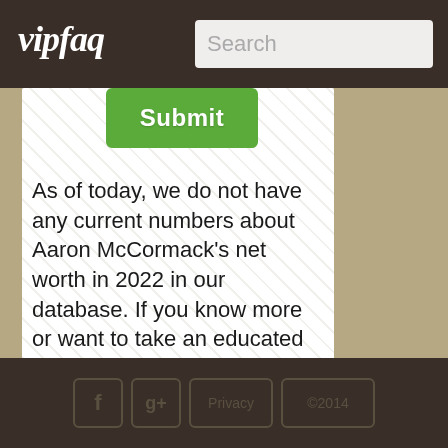vipfaq
As of today, we do not have any current numbers about Aaron McCormack's net worth in 2022 in our database. If you know more or want to take an educated guess, please feel free to do so above.
f  g+  Privacy  ©2014